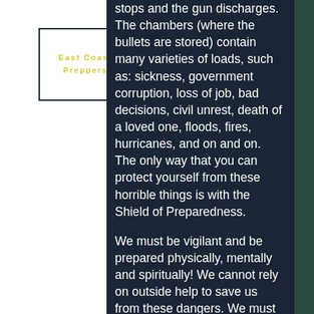[Figure (logo): East Coast Preppers logo — text in yellow/gold on white background within a dark border box]
stops and the gun discharges. The chambers (where the bullets are stored) contain many varieties of loads, such as: sickness, government corruption, loss of job, bad decisions, civil unrest, death of a loved one, floods, fires, hurricanes, and on and on. The only way that you can protect yourself from these horrible things is with the Shield of Preparedness.

We must be vigilant and be prepared physically, mentally and spiritually! We cannot rely on outside help to save us from these dangers. We must be personally prepared ourselves. Knowledge is where it all starts! The more you know, the more you can shield against the calamities of life.